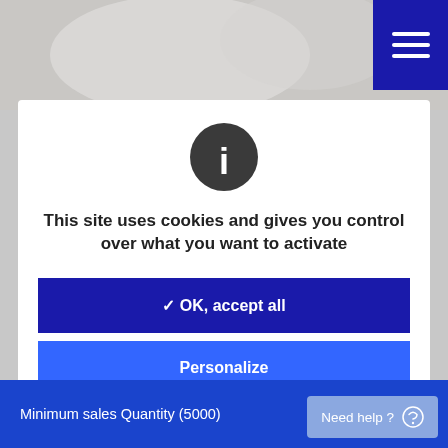[Figure (screenshot): Blurred photo background at top of page]
[Figure (screenshot): Dark blue hamburger menu button in top right corner with three white horizontal lines]
[Figure (infographic): Dark circle with white letter i (information icon)]
This site uses cookies and gives you control over what you want to activate
✓ OK, accept all
Personalize
Privacy policy
Minimum sales Quantity (5000)
Need help ?